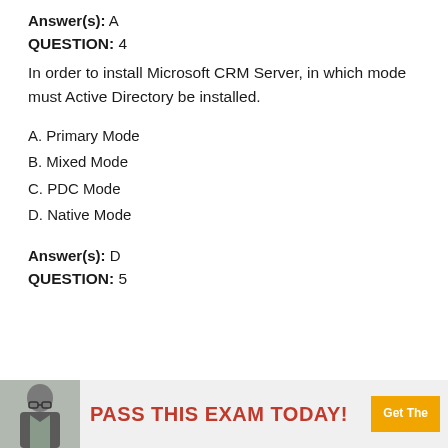Answer(s): A
QUESTION: 4
In order to install Microsoft CRM Server, in which mode must Active Directory be installed.
A. Primary Mode
B. Mixed Mode
C. PDC Mode
D. Native Mode
Answer(s): D
QUESTION: 5
[Figure (photo): Advertisement banner showing a person and text 'PASS THIS EXAM TODAY!' with a yellow 'Get The' button]